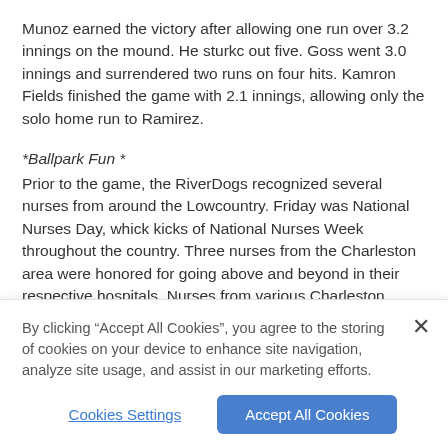Munoz earned the victory after allowing one run over 3.2 innings on the mound. He sturkc out five. Goss went 3.0 innings and surrendered two runs on four hits. Kamron Fields finished the game with 2.1 innings, allowing only the solo home run to Ramirez.
*Ballpark Fun *
Prior to the game, the RiverDogs recognized several nurses from around the Lowcountry. Friday was National Nurses Day, whick kicks of National Nurses Week throughout the country. Three nurses from the Charleston area were honored for going above and beyond in their respective hospitals. Nurses from various Charleston hospitals were also able to toss out a ceremonial firsth pitch.
By clicking “Accept All Cookies”, you agree to the storing of cookies on your device to enhance site navigation, analyze site usage, and assist in our marketing efforts.
Cookies Settings
Accept All Cookies